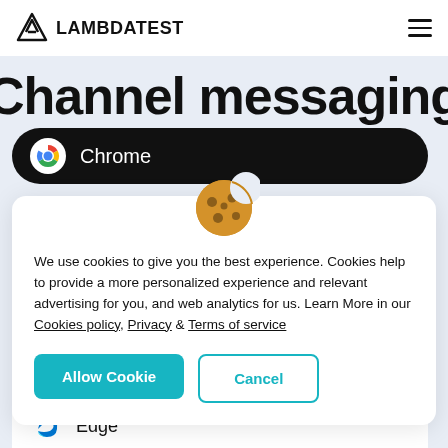LAMBDATEST
Channel messaging
[Figure (screenshot): Black rounded pill bar showing Chrome browser option with Chrome logo icon]
[Figure (illustration): Cookie emoji icon]
We use cookies to give you the best experience. Cookies help to provide a more personalized experience and relevant advertising for you, and web analytics for us. Learn More in our Cookies policy, Privacy & Terms of service
Allow Cookie
Cancel
[Figure (screenshot): White bar showing Edge browser option with Edge logo icon]